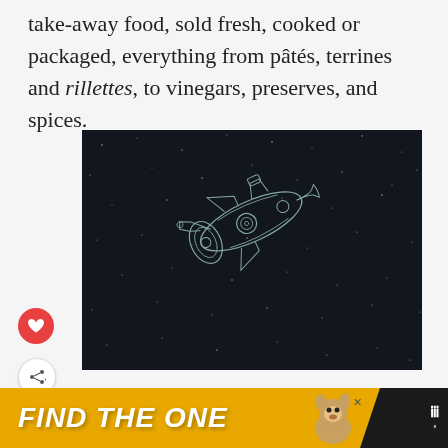take-away food, sold fresh, cooked or packaged, everything from pâtés, terrines and rillettes, to vinegars, preserves, and spices.
[Figure (illustration): Dark navy/black background with white dot starfield texture. A line-art illustration of a mechanical or sci-fi object (possibly a submarine or spacecraft) rendered in white/teal outline on the dark background.]
[Figure (other): Advertisement banner: dark background with yellow/gold angled section containing bold italic white text 'FIND THE ONE' with a dog photo and a logo on the right side.]